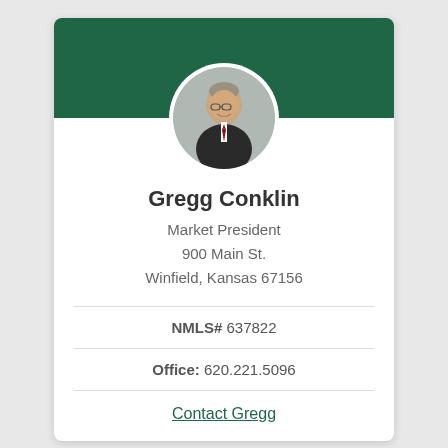[Figure (photo): Circular profile photo of Gregg Conklin, a middle-aged man with glasses wearing a dark suit and red tie, on a grey background.]
Gregg Conklin
Market President
900 Main St.
Winfield, Kansas 67156
NMLS# 637822
Office: 620.221.5096
Contact Gregg